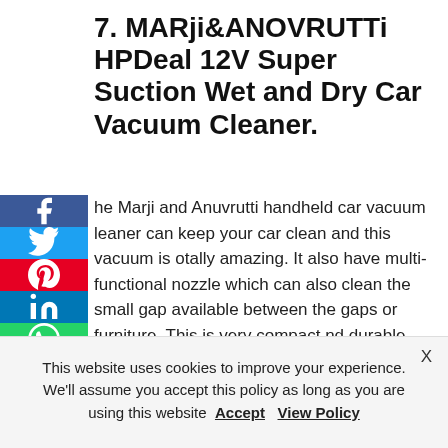7. MARji&ANOVRUTTi HPDeal 12V Super Suction Wet and Dry Car Vacuum Cleaner.
The Marji and Anuvrutti handheld car vacuum cleaner can keep your car clean and this vacuum is totally amazing. It also have multi-functional nozzle which can also clean the small gap available between the gaps or furniture. This is very compact and durable. You can buy this vacuum cleaner under rs.500. The color combination of the vacuum cleaner make it more attractive.
[Figure (photo): Partial image of a teal/white handheld car vacuum cleaner product]
This website uses cookies to improve your experience. We'll assume you accept this policy as long as you are using this website Accept View Policy